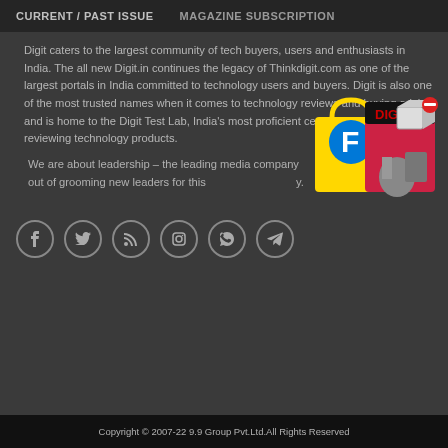CURRENT / PAST ISSUE    MAGAZINE SUBSCRIPTION
Digit caters to the largest community of tech buyers, users and enthusiasts in India. The all new Digit.in continues the legacy of Thinkdigit.com as one of the largest portals in India committed to technology users and buyers. Digit is also one of the most trusted names when it comes to technology reviews and buying advice and is home to the Digit Test Lab, India’s most proficient center for testing and reviewing technology products.
We are about leadership – the leading media company out of grooming new leaders for this y.
[Figure (illustration): Advertisement box showing Flipkart and other products with a 3D cube icon]
[Figure (infographic): Social media icons: Facebook, Twitter, RSS, Instagram, WhatsApp, Telegram]
Copyright © 2007-22 9.9 Group Pvt.Ltd.All Rights Reserved